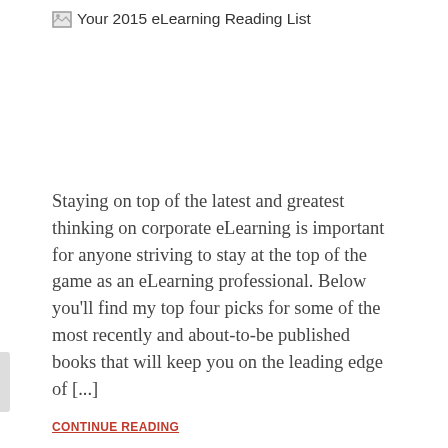[Figure (other): Broken image placeholder with link text 'Your 2015 eLearning Reading List']
Staying on top of the latest and greatest thinking on corporate eLearning is important for anyone striving to stay at the top of the game as an eLearning professional. Below you'll find my top four picks for some of the most recently and about-to-be published books that will keep you on the leading edge of [...]
CONTINUE READING
E-Learning
The (Unfulfilled) Promise of mLearning